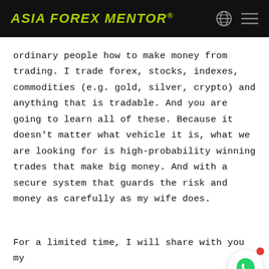ASIA FOREX MENTOR®
ordinary people how to make money from trading. I trade forex, stocks, indexes, commodities (e.g. gold, silver, crypto) and anything that is tradable. And you are going to learn all of these. Because it doesn't matter what vehicle it is, what we are looking for is high-probability winning trades that make big money. And with a secure system that guards the risk and money as carefully as my wife does.
For a limited time, I will share with you my